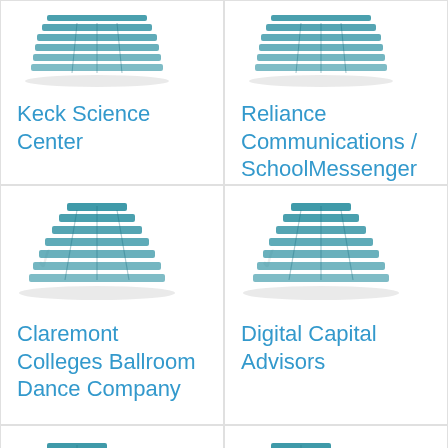[Figure (illustration): Building/office complex icon in teal/blue style, partially visible at top]
Keck Science Center
[Figure (illustration): Building/office complex icon in teal/blue style, partially visible at top]
Reliance Communications / SchoolMessenger
Company
[Figure (illustration): Building/office complex icon in teal/blue style]
Claremont Colleges Ballroom Dance Company
[Figure (illustration): Building/office complex icon in teal/blue style]
Digital Capital Advisors
[Figure (illustration): Building/office complex icon in teal/blue style, partially visible at bottom]
[Figure (illustration): Building/office complex icon in teal/blue style, partially visible at bottom]